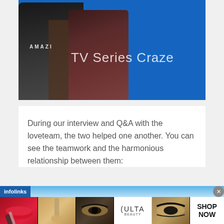[Figure (photo): Two people posing together in front of a bright blue background. Text overlay reads 'TV Series Craze'. The person on the left wears a tank top with 'AMAZI' visible.]
During our interview and Q&A with the loveteam, the two helped one another. You can see the teamwork and the harmonious relationship between them:
[Figure (infographic): Infolinks advertisement banner showing beauty/makeup images including lips, makeup brush, eye makeup, ULTA Beauty logo, and eye makeup photos with SHOP NOW call to action.]